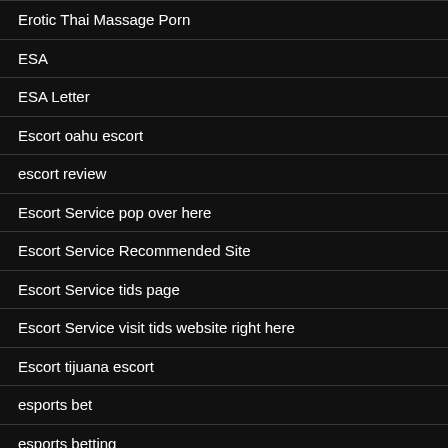Erotic Thai Massage Porn
ESA
ESA Letter
Escort oahu escort
escort review
Escort Service pop over here
Escort Service Recommended Site
Escort Service tids page
Escort Service visit tids website right here
Escort tijuana escort
esports bet
esports betting
Espo Esports bet Gallery